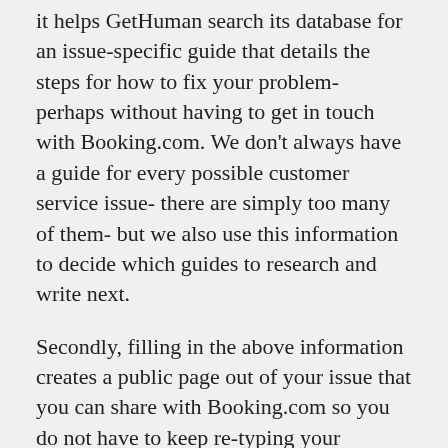it helps GetHuman search its database for an issue-specific guide that details the steps for how to fix your problem- perhaps without having to get in touch with Booking.com. We don't always have a guide for every possible customer service issue- there are simply too many of them- but we also use this information to decide which guides to research and write next.
Secondly, filling in the above information creates a public page out of your issue that you can share with Booking.com so you do not have to keep re-typing your problem when you reach out. You can also share with other customers to solicit help from them. When you resolve the issue, you can share with other customers how you resolve it. The next customer that comes along may see this and resolve their own problem faster thanks to you. You can use the links sent to your email address to edit or delete the public page created through this process at any time.